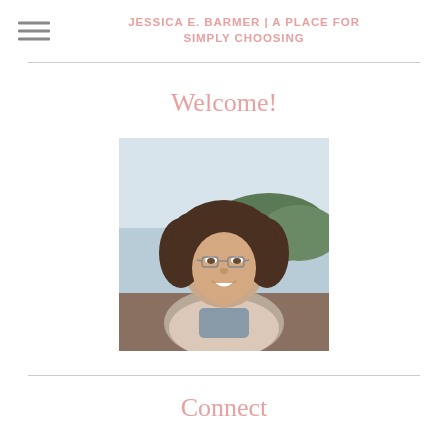JESSICA E. BARMER | A PLACE FOR SIMPLY CHOOSING
Welcome!
[Figure (photo): Portrait photo of a woman with curly hair and glasses, smiling outdoors near a body of water with hills in the background]
Connect